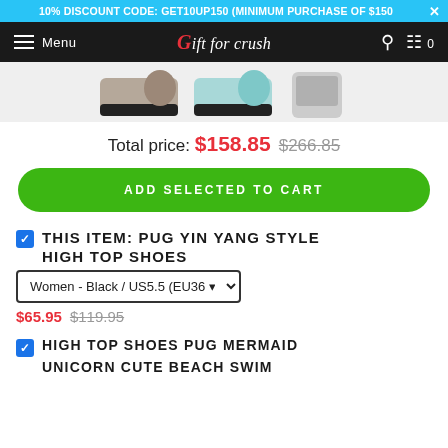10% DISCOUNT CODE: GET10UP150 (MINIMUM PURCHASE OF $150)
[Figure (screenshot): Navigation bar with hamburger menu, 'Gift for crush' logo, search and cart icons]
[Figure (photo): Three product shoe images partially shown at top]
Total price: $158.85  $266.85
ADD SELECTED TO CART
THIS ITEM: PUG YIN YANG STYLE HIGH TOP SHOES
Women - Black / US5.5 (EU36)
$65.95  $119.95
HIGH TOP SHOES PUG MERMAID
UNICORN CUTE BEACH SWIM